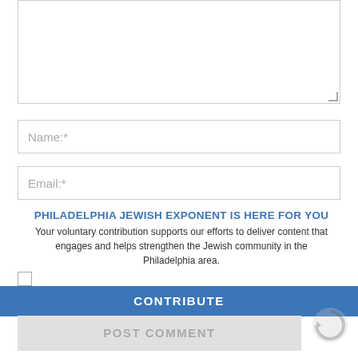[Figure (screenshot): Empty textarea/comment input box with resize handle at bottom right]
Name:*
Email:*
PHILADELPHIA JEWISH EXPONENT IS HERE FOR YOU
Your voluntary contribution supports our efforts to deliver content that engages and helps strengthen the Jewish community in the Philadelphia area.
CONTRIBUTE
POST COMMENT